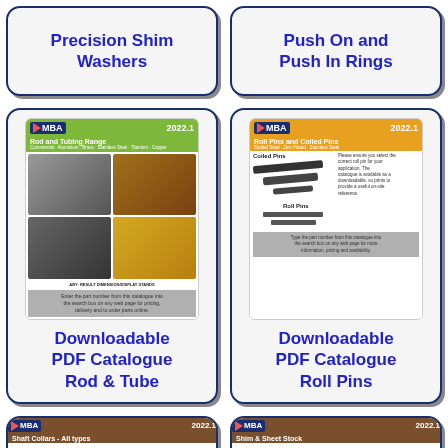[Figure (illustration): Partial card top left: Precision Shim Washers catalogue link]
Precision Shim Washers
[Figure (illustration): Partial card top right: Push On and Push In Rings catalogue link]
Push On and Push In Rings
[Figure (illustration): MBA 2022.1 Rod and Tubing Range catalogue thumbnail]
Downloadable PDF Catalogue Rod & Tube
[Figure (illustration): MBA 2022.1 Roll Pins and Coiled Pins catalogue thumbnail]
Downloadable PDF Catalogue Roll Pins
[Figure (illustration): MBA 2022.1 Shaft Collars - All types catalogue thumbnail]
[Figure (illustration): MBA 2022.1 Shim & Sheet Stock catalogue thumbnail]